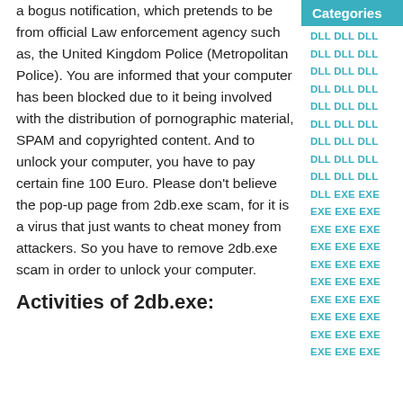a bogus notification, which pretends to be from official Law enforcement agency such as, the United Kingdom Police (Metropolitan Police). You are informed that your computer has been blocked due to it being involved with the distribution of pornographic material, SPAM and copyrighted content. And to unlock your computer, you have to pay certain fine 100 Euro. Please don't believe the pop-up page from 2db.exe scam, for it is a virus that just wants to cheat money from attackers. So you have to remove 2db.exe scam in order to unlock your computer.
Activities of 2db.exe:
Categories
DLL DLL DLL
DLL DLL DLL
DLL DLL DLL
DLL DLL DLL
DLL DLL DLL
DLL DLL DLL
DLL DLL DLL
DLL DLL DLL
DLL DLL DLL
DLL EXE EXE
EXE EXE EXE
EXE EXE EXE
EXE EXE EXE
EXE EXE EXE
EXE EXE EXE
EXE EXE EXE
EXE EXE EXE
EXE EXE EXE
EXE EXE EXE